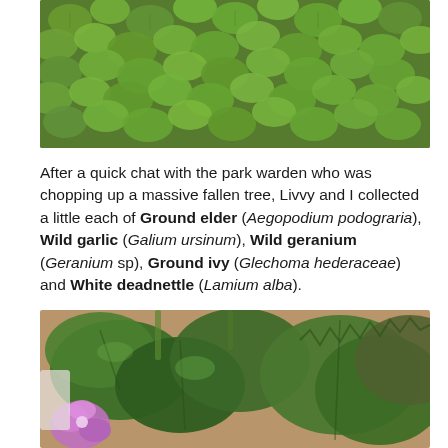[Figure (photo): Close-up photo of dense green ground cover plants with small rounded leaves, viewed from above.]
After a quick chat with the park warden who was chopping up a massive fallen tree, Livvy and I collected a little each of Ground elder (Aegopodium podograria), Wild garlic (Galium ursinum), Wild geranium (Geranium sp), Ground ivy (Glechoma hederaceae) and White deadnettle (Lamium alba).
[Figure (photo): Close-up photo of collected wild plants including large green leaves, a purple flower, and various herb sprigs laid on a surface.]